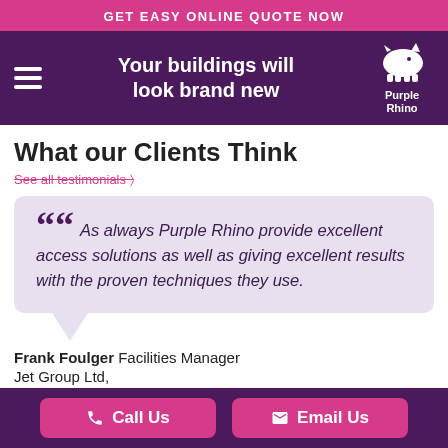GET EASY ONLINE QUOTE NOW
Your buildings will look brand new
What our Clients Think
See all testimonials
As always Purple Rhino provide excellent access solutions as well as giving excellent results with the proven techniques they use.
Frank Foulger Facilities Manager
Jet Group Ltd,
Call Us  Email Us